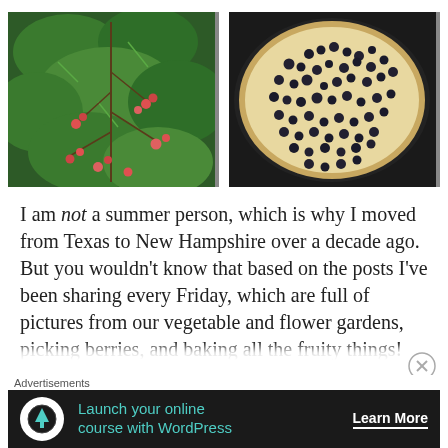[Figure (photo): Photo of wild raspberry or blackberry plant with green leaves and small red/pink berries]
[Figure (photo): Photo of a round baked clafoutis or similar dish in a dark pan, topped with many small dark berries]
I am not a summer person, which is why I moved from Texas to New Hampshire over a decade ago. But you wouldn't know that based on the posts I've been sharing every Friday, which are full of pictures from our vegetable and flower gardens, picking berries, and baking all the fruity things! I'm
Advertisements
Launch your online course with WordPress
Learn More